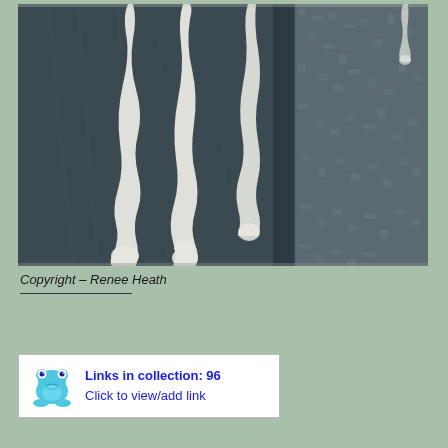[Figure (photo): Close-up photo showing white dripping or melting substance (possibly wax or paint) running down a dark surface, with a textured gray wall visible on the right side.]
Copyright – Renee Heath
Links in collection: 96
Click to view/add link